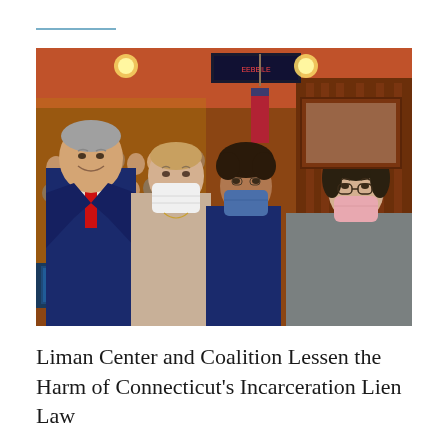[Figure (photo): Four people posing for a photo inside what appears to be the Connecticut State Capitol legislative chamber. On the left is a man in a navy suit with a red tie. In the center-left is a woman in a light-colored blouse wearing a white face mask. In the center-right is a person with curly hair wearing a blue face mask. On the right is a young woman in a gray jacket wearing a pink face mask. The chamber background shows rows of legislators, wooden paneling, and a scoreboard display.]
Liman Center and Coalition Lessen the Harm of Connecticut's Incarceration Lien Law